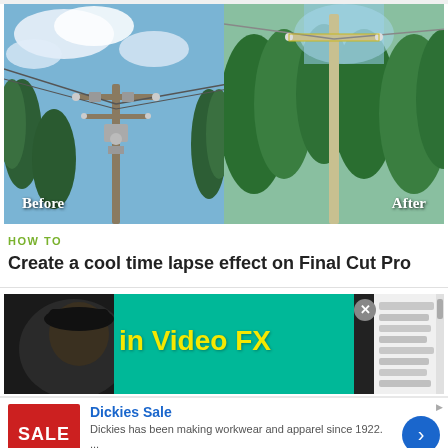[Figure (photo): Before and after comparison photo of a power line utility pole against sky and trees. Left side labeled 'Before' shows a complex pole with multiple wires and equipment. Right side labeled 'After' shows a simpler, cleaner pole.]
HOW TO
Create a cool time lapse effect on Final Cut Pro
[Figure (screenshot): Screenshot showing a video tutorial thumbnail with text 'in Video FX' in yellow on a green/teal background with a person visible on the left, and a software panel on the right side.]
Dickies Sale
Dickies has been making workwear and apparel since 1922.
...
www.dickies.com